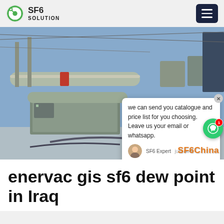SF6 SOLUTION
[Figure (photo): A worker in blue overalls and hard hat stands at an electrical substation with large SF6 gas-insulated switchgear equipment. A chat popup overlay is visible with text: 'we can send you catalogue and price list for you choosing. Leave us your email or whatsapp.' SF6China watermark in bottom right.]
enervac gis sf6 dew point in Iraq